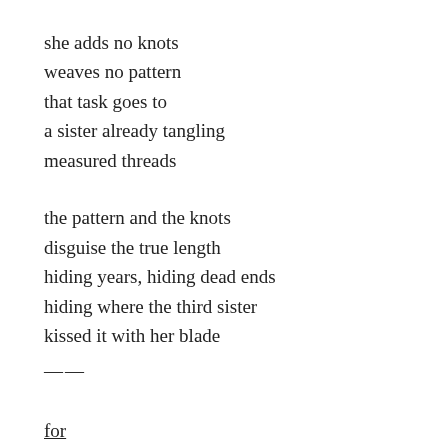she adds no knots
weaves no pattern
that task goes to
a sister already tangling
measured threads

the pattern and the knots
disguise the true length
hiding years, hiding dead ends
hiding where the third sister
kissed it with her blade

——

for
the secret keeper